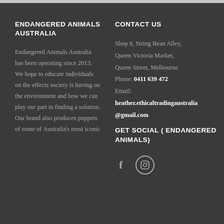ENDANGERED ANIMALS AUSTRALIA
Endangered Animals Australia has been operating since 2013. We hope to educate individuals on the effects society is having on the environment and how we can play our part in finding a solution. Our brand also produces puppets of some of Australia's most iconic
CONTACT US
Shop 8, String Bean Alley, Queen Victoria Market, Queen Street, Melbourne
Phone: 0411 639 472
Email: heather.ethicaltradingaustralia@gmail.com
GET SOCIAL ( ENDANGERED ANIMALS)
[Figure (illustration): Facebook and Instagram social media icons: a letter f and a camera outline circle icon]